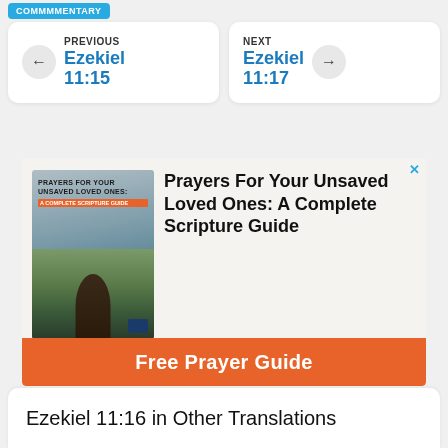COMMMMENTARY
PREVIOUS
Ezekiel
11:15
NEXT
Ezekiel
11:17
[Figure (screenshot): Advertisement for 'Prayers For Your Unsaved Loved Ones: A Complete Scripture Guide' with a book image and 'Free Prayer Guide' orange CTA button]
Ezekiel 11:16 in Other Translations